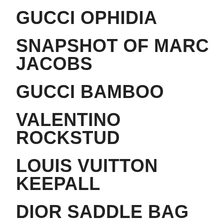GUCCI OPHIDIA
SNAPSHOT OF MARC JACOBS
GUCCI BAMBOO
VALENTINO ROCKSTUD
LOUIS VUITTON KEEPALL
DIOR SADDLE BAG
GG MARMONT FROM GUCCI
LADY DIOR BY DIOR